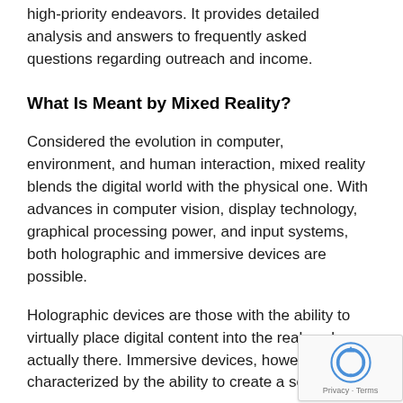high-priority endeavors. It provides detailed analysis and answers to frequently asked questions regarding outreach and income.
What Is Meant by Mixed Reality?
Considered the evolution in computer, environment, and human interaction, mixed reality blends the digital world with the physical one. With advances in computer vision, display technology, graphical processing power, and input systems, both holographic and immersive devices are possible.
Holographic devices are those with the ability to virtually place digital content into the real world were actually there. Immersive devices, however characterized by the ability to create a sense of